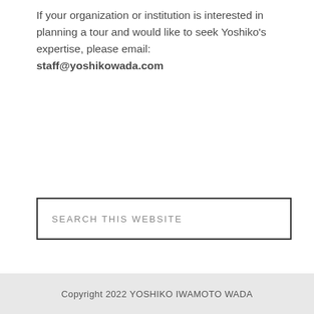If your organization or institution is interested in planning a tour and would like to seek Yoshiko’s expertise, please email:
staff@yoshikowada.com
SEARCH THIS WEBSITE
Copyright 2022 YOSHIKO IWAMOTO WADA